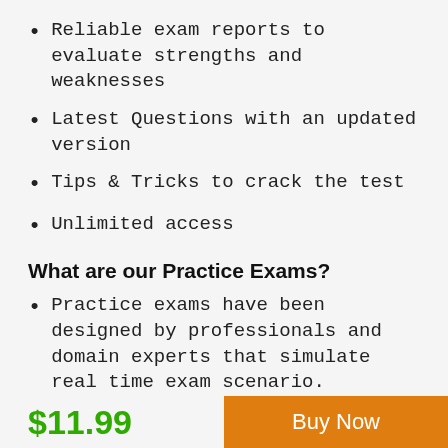Reliable exam reports to evaluate strengths and weaknesses
Latest Questions with an updated version
Tips & Tricks to crack the test
Unlimited access
What are our Practice Exams?
Practice exams have been designed by professionals and domain experts that simulate real time exam scenario.
Practice exam questions have been created on the basis of content
$11.99
Buy Now